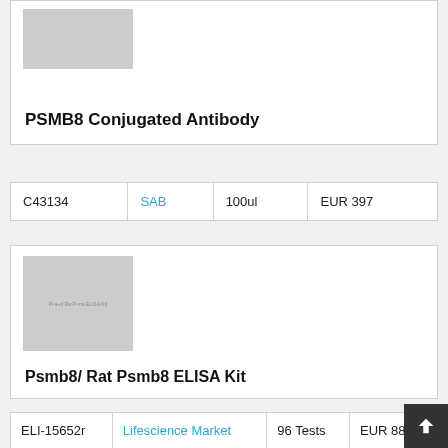[Figure (photo): Gray placeholder image for PSMB8 Conjugated Antibody product]
PSMB8 Conjugated Antibody
| Catalog | Supplier | Size | Price |
| --- | --- | --- | --- |
| C43134 | SAB | 100ul | EUR 397 |
[Figure (photo): Gray placeholder image for Psmb8/Rat Psmb8 ELISA Kit product, with text label on image]
Psmb8/ Rat Psmb8 ELISA Kit
| Catalog | Supplier | Size | Price |
| --- | --- | --- | --- |
| ELI-15652r | Lifescience Market | 96 Tests | EUR 886 |
[Figure (photo): Partial gray placeholder image at bottom of page]